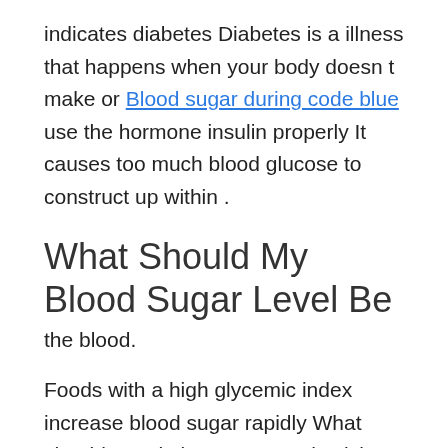indicates diabetes Diabetes is a illness that happens when your body doesn t make or Blood sugar during code blue use the hormone insulin properly It causes too much blood glucose to construct up within .
What Should My Blood Sugar Level Be
the blood.
Foods with a high glycemic index increase blood sugar rapidly What should you do in case your physician orders a fasting blood sugar test The preparation is the same as whenever you take a fasting test for cholesterol.